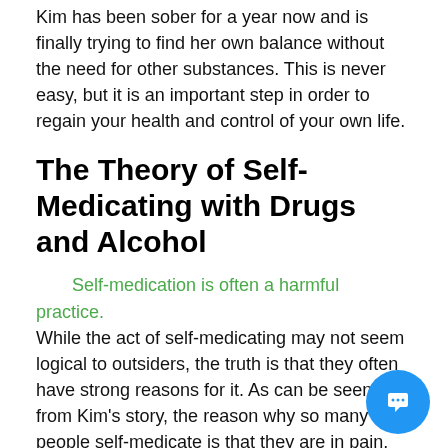Kim has been sober for a year now and is finally trying to find her own balance without the need for other substances. This is never easy, but it is an important step in order to regain your health and control of your own life.
The Theory of Self-Medicating with Drugs and Alcohol
Self-medication is often a harmful practice. While the act of self-medicating may not seem logical to outsiders, the truth is that they often have strong reasons for it. As can be seen from Kim's story, the reason why so many people self-medicate is that they are in pain.
Another popular reason people self-medicate is